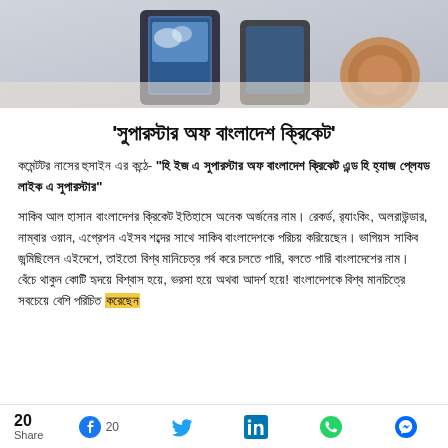[Figure (photo): Top portion of page showing smartwatch/tech product photo with blue and brown tones]
'সুপারস্টার অফ বাংলাদেশ ক্রিকেট'
কমেন্টটর নাসের হুসাইন এর কন্ঠে- "হি ইজ এ সুপারস্টার অফ বাংলাদেশ ক্রিকেট এন্ড হি হ্যাজ প্লেযড লাইক এ সুপারস্টার"
সাকিব আল হাসান বাংলাদেশর ক্রিকেট ইতিহাসে অনেক অর্জনের নাম। রেকর্ড, র‍্যাংকিং, অলরাউন্ডার, নাম্বার ওয়ান, এগ্রেশন এইসব শব্দের সাথে সাকিব বাংলাদেশকে পরিচয় করিয়েছেন। ভাগিয়স সাকিব জন্মিছিলেন এইদেশে, তাইতো বিশ্ব মানিচেত্র গর্ব করে চলতে পারি, বলতে পারি বাংলাদেশের নাম। বেঁচে থাকুন কোটি হৃদয়ে বিশ্বাস হয়ে, ভরসা হয়ে অথবা আদর্শ হয়ে! বাংলাদেশকে বিশ্ব মানচিত্রে সবচেয়ে বেশি পরিচিত করেছেন
20 Share  20